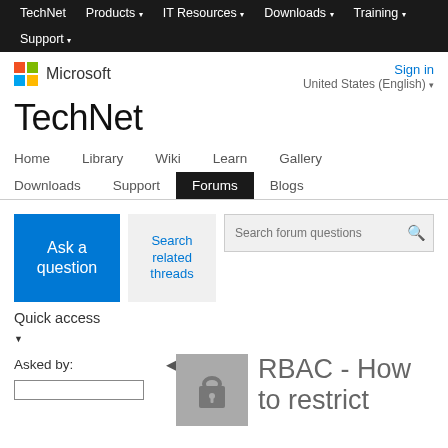TechNet | Products | IT Resources | Downloads | Training | Support
[Figure (logo): Microsoft logo (four colored squares) with text 'Microsoft']
Sign in
United States (English)
TechNet
Home | Library | Wiki | Learn | Gallery | Downloads | Support | Forums | Blogs
Ask a question
Search related threads
Search forum questions
Quick access
Asked by:
[Figure (illustration): Gray lock icon in a gray square box]
RBAC - How to restrict